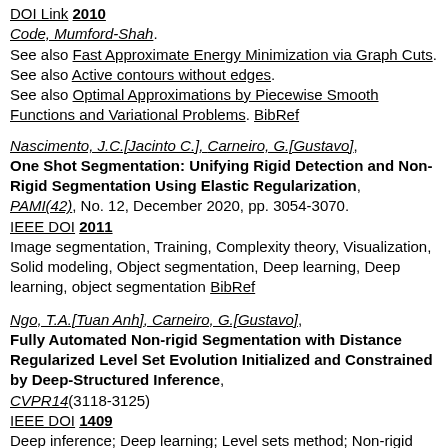DOI Link 2010
Code, Mumford-Shah.
See also Fast Approximate Energy Minimization via Graph Cuts.
See also Active contours without edges.
See also Optimal Approximations by Piecewise Smooth Functions and Variational Problems. BibRef
Nascimento, J.C.[Jacinto C.], Carneiro, G.[Gustavo],
One Shot Segmentation: Unifying Rigid Detection and Non-Rigid Segmentation Using Elastic Regularization,
PAMI(42), No. 12, December 2020, pp. 3054-3070.
IEEE DOI 2011
Image segmentation, Training, Complexity theory, Visualization, Solid modeling, Object segmentation, Deep learning, Deep learning, object segmentation BibRef
Ngo, T.A.[Tuan Anh], Carneiro, G.[Gustavo],
Fully Automated Non-rigid Segmentation with Distance Regularized Level Set Evolution Initialized and Constrained by Deep-Structured Inference,
CVPR14(3118-3125)
IEEE DOI 1409
Deep inference; Deep learning; Level sets method; Non-rigid segmentation BibRef